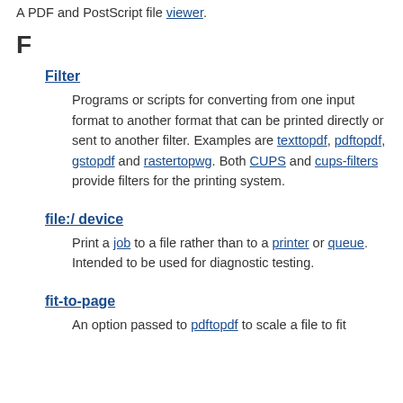A PDF and PostScript file viewer.
F
Filter
Programs or scripts for converting from one input format to another format that can be printed directly or sent to another filter. Examples are texttopdf, pdftopdf, gstopdf and rastertopwg. Both CUPS and cups-filters provide filters for the printing system.
file:/ device
Print a job to a file rather than to a printer or queue. Intended to be used for diagnostic testing.
fit-to-page
An option passed to pdftopdf to scale a file to fit